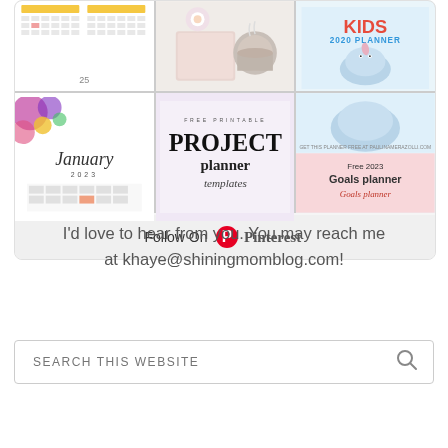[Figure (screenshot): Pinterest widget showing a grid of planner-themed pin thumbnails (calendar, January 2023, project planner templates, kids 2020 planner, tea/coffee photo, free 2023 goals planner) with a 'Follow On Pinterest' button below]
I'd love to hear from you. You may reach me at khaye@shiningmomblog.com!
[Figure (other): Search input box with placeholder text 'SEARCH THIS WEBSITE' and a magnifying glass icon]